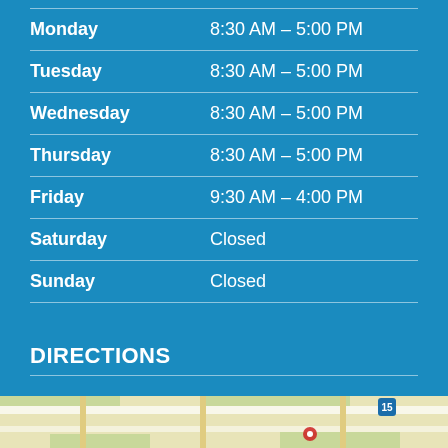| Day | Hours |
| --- | --- |
| Monday | 8:30 AM – 5:00 PM |
| Tuesday | 8:30 AM – 5:00 PM |
| Wednesday | 8:30 AM – 5:00 PM |
| Thursday | 8:30 AM – 5:00 PM |
| Friday | 9:30 AM – 4:00 PM |
| Saturday | Closed |
| Sunday | Closed |
DIRECTIONS
[Figure (map): Street map showing location with route 15 visible]